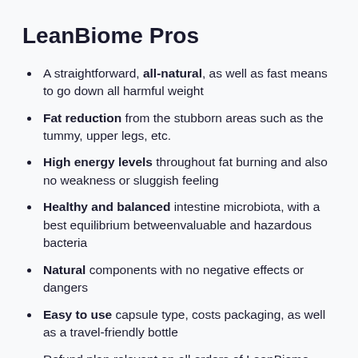LeanBiome Pros
A straightforward, all-natural, as well as fast means to go down all harmful weight
Fat reduction from the stubborn areas such as the tummy, upper legs, etc.
High energy levels throughout fat burning and also no weakness or sluggish feeling
Healthy and balanced intestine microbiota, with a best equilibrium betweenvaluable and hazardous bacteria
Natural components with no negative effects or dangers
Easy to use capsule type, costs packaging, as well as a travel-friendly bottle
Refund plan relevant on all orders of LeanBiome